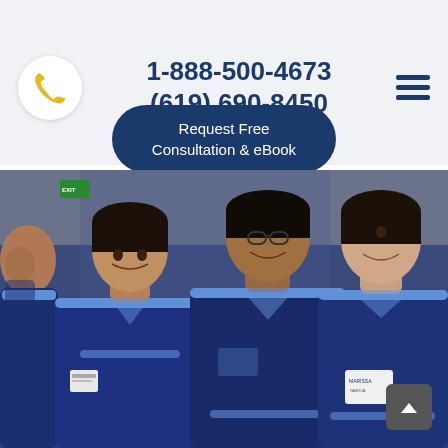1-888-500-4673
(619) 690-8450
Request Free Consultation & eBook
[Figure (photo): Three healthcare workers in navy blue scrubs with light blue trim standing in a hospital hallway, smiling at the camera. The worker on the right wears a name badge reading 'Marissa'.]